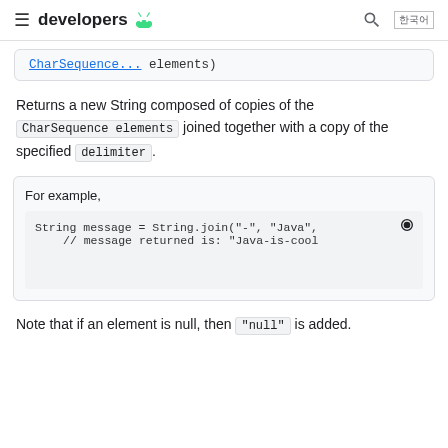developers
CharSequence... elements)
Returns a new String composed of copies of the CharSequence elements joined together with a copy of the specified delimiter.
For example,
String message = String.join("-", "Java",
// message returned is: "Java-is-cool
Note that if an element is null, then "null" is added.